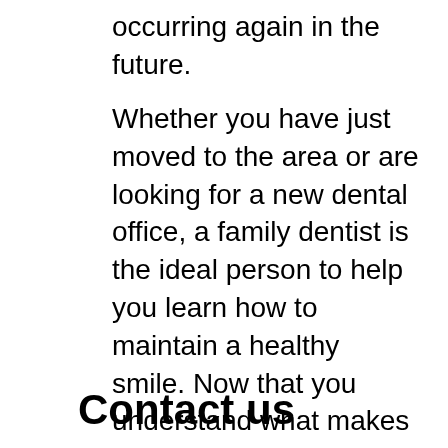occurring again in the future.
Whether you have just moved to the area or are looking for a new dental office, a family dentist is the ideal person to help you learn how to maintain a healthy smile. Now that you understand what makes a family dentist special, schedule your appointment with Gage Dental Care today.
Contact us